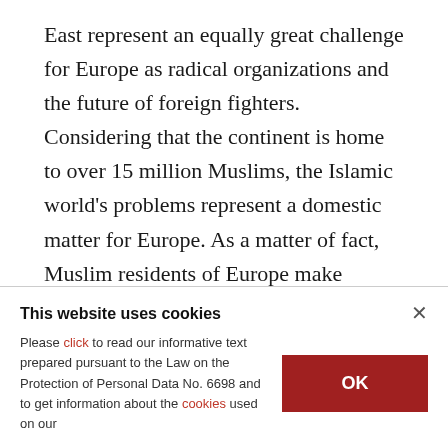East represent an equally great challenge for Europe as radical organizations and the future of foreign fighters. Considering that the continent is home to over 15 million Muslims, the Islamic world's problems represent a domestic matter for Europe. As a matter of fact, Muslim residents of Europe make valuable contributions to the continent's diversity. This is not a process of Islamization but an opportunity to co-exist with the Islamic faith. Of course, the Muslim community
This website uses cookies
Please click to read our informative text prepared pursuant to the Law on the Protection of Personal Data No. 6698 and to get information about the cookies used on our